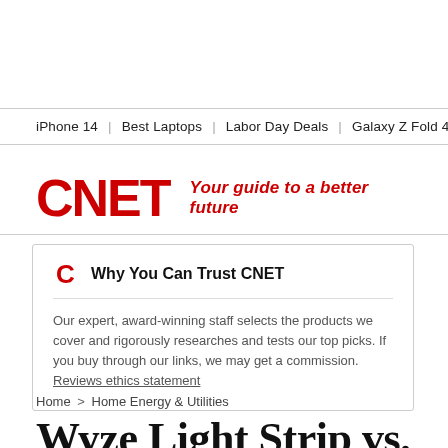iPhone 14 | Best Laptops | Labor Day Deals | Galaxy Z Fold 4 | Surf
[Figure (logo): CNET logo in red with tagline 'Your guide to a better future']
Why You Can Trust CNET
Our expert, award-winning staff selects the products we cover and rigorously researches and tests our top picks. If you buy through our links, we may get a commission. Reviews ethics statement
Home > Home Energy & Utilities
Wyze Light Strip vs. Wyze